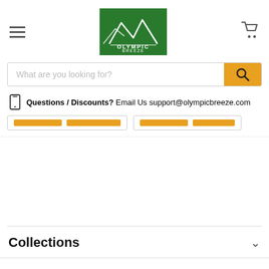[Figure (logo): Olympic Breeze Quality Supply logo — green square background with white mountain silhouette and text]
What are you looking for?
Questions / Discounts? Email Us support@olympicbreeze.com
Collections
About